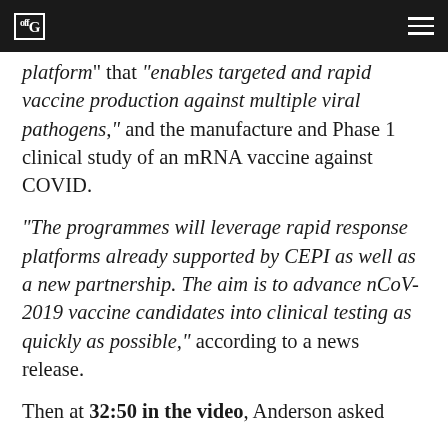offG
platform” that “enables targeted and rapid vaccine production against multiple viral pathogens,” and the manufacture and Phase 1 clinical study of an mRNA vaccine against COVID.
“The programmes will leverage rapid response platforms already supported by CEPI as well as a new partnership. The aim is to advance nCoV-2019 vaccine candidates into clinical testing as quickly as possible,” according to a news release.
Then at 32:50 in the video, Anderson asked